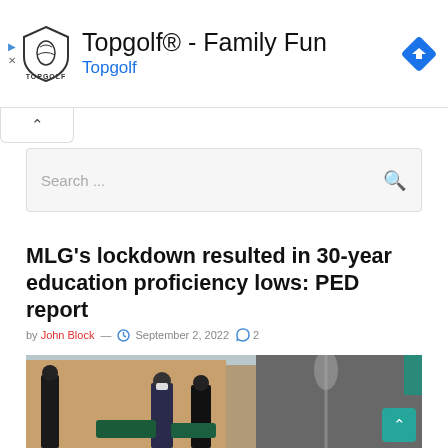[Figure (infographic): Topgolf advertisement banner with Topgolf shield logo, text 'Topgolf® - Family Fun' and 'Topgolf' in blue, navigation/directions diamond icon, play and close icons on left]
Search ...
MLG's lockdown resulted in 30-year education proficiency lows: PED report
by John Block — September 2, 2022  2
[Figure (photo): Outdoor scene with masked people, green chairs, building facade in background]